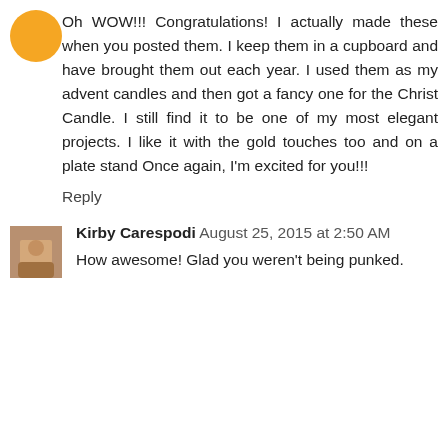[Figure (illustration): Orange circular avatar icon (partially visible at top)]
Oh WOW!!! Congratulations! I actually made these when you posted them. I keep them in a cupboard and have brought them out each year. I used them as my advent candles and then got a fancy one for the Christ Candle. I still find it to be one of my most elegant projects. I like it with the gold touches too and on a plate stand Once again, I'm excited for you!!!
Reply
[Figure (photo): Small portrait photo of Kirby Carespodi]
Kirby Carespodi August 25, 2015 at 2:50 AM
How awesome! Glad you weren't being punked.